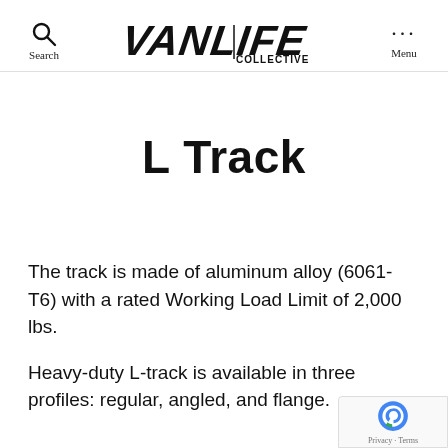Search | VANLIFE COLLECTIVE | Menu
L Track
The track is made of aluminum alloy (6061-T6) with a rated Working Load Limit of 2,000 lbs.
Heavy-duty L-track is available in three profiles: regular, angled, and flange.